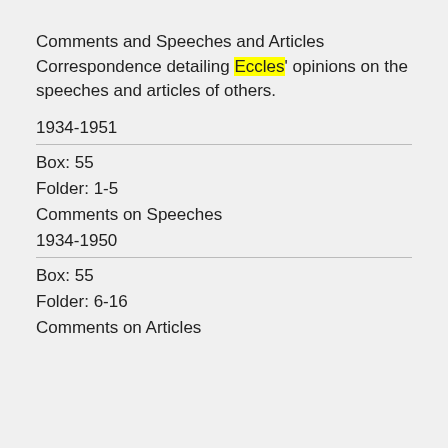Comments and Speeches and Articles Correspondence detailing Eccles' opinions on the speeches and articles of others.
1934-1951
Box: 55
Folder: 1-5
Comments on Speeches
1934-1950
Box: 55
Folder: 6-16
Comments on Articles